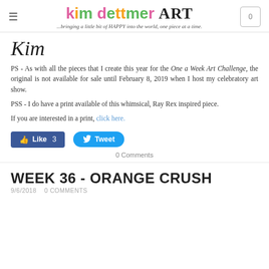kim dettmer ART ...bringing a little bit of HAPPY into the world, one piece at a time.
[Figure (illustration): Handwritten cursive signature 'Kim']
PS - As with all the pieces that I create this year for the One a Week Art Challenge, the original is not available for sale until February 8, 2019 when I host my celebratory art show.
PSS - I do have a print available of this whimsical, Ray Rex inspired piece.
If you are interested in a print, click here.
[Figure (other): Social sharing buttons: Like 3 (Facebook) and Tweet (Twitter)]
0 Comments
WEEK 36 - ORANGE CRUSH
9/6/2018   0 COMMENTS